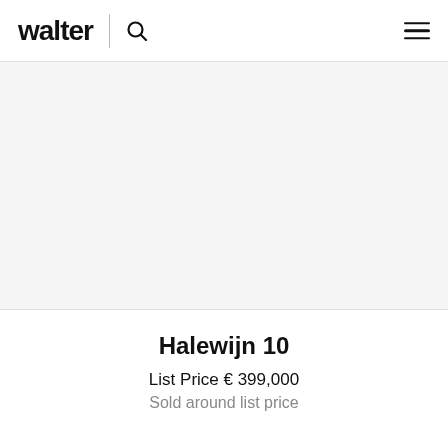walter
[Figure (photo): Property image area — blank/white placeholder for Halewijn 10 property photo]
Halewijn 10
List Price € 399,000
Sold around list price